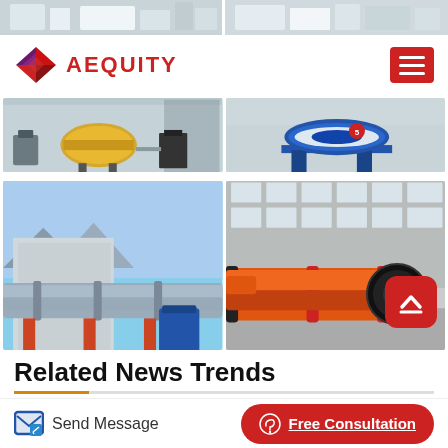[Figure (photo): Header strip with two industrial facility photos side by side]
[Figure (logo): AEQUITY logo with red diamond/arrow graphic and red AEQUITY text, hamburger menu button top right]
[Figure (photo): Two industrial equipment photos side by side: yellow grinding mill and blue circular vibrating screen]
[Figure (photo): Two industrial photos: rotary kiln at plant site (grey), and large orange rotary drum/kiln in factory]
Related News Trends
Rock Crusher Mfg In N C
[Figure (other): Bottom action bar with Send Message button and Free Consultation red pill button]